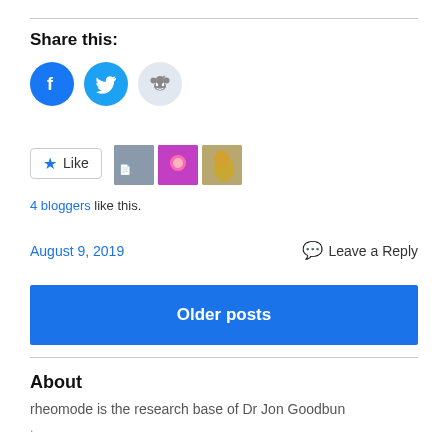Share this:
[Figure (infographic): Social share icons: Facebook (blue circle with F), Twitter (blue circle with bird), Reddit (light blue circle with alien mascot)]
[Figure (infographic): Like button with star icon, followed by three blogger avatar thumbnails]
4 bloggers like this.
August 9, 2019
Leave a Reply
Older posts
About
rheomode is the research base of Dr Jon Goodbun
.